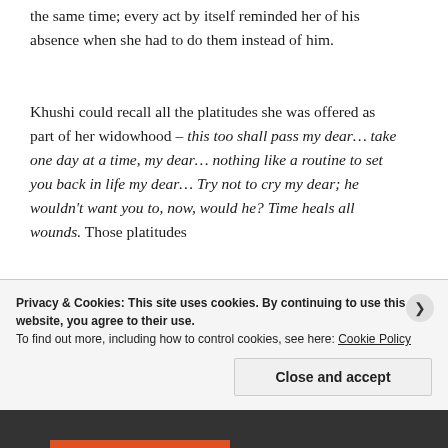the same time; every act by itself reminded her of his absence when she had to do them instead of him.
Khushi could recall all the platitudes she was offered as part of her widowhood – this too shall pass my dear... take one day at a time, my dear... nothing like a routine to set you back in life my dear... Try not to cry my dear; he wouldn't want you to, now, would he? Time heals all wounds. Those platitudes
Privacy & Cookies: This site uses cookies. By continuing to use this website, you agree to their use.
To find out more, including how to control cookies, see here: Cookie Policy
Close and accept